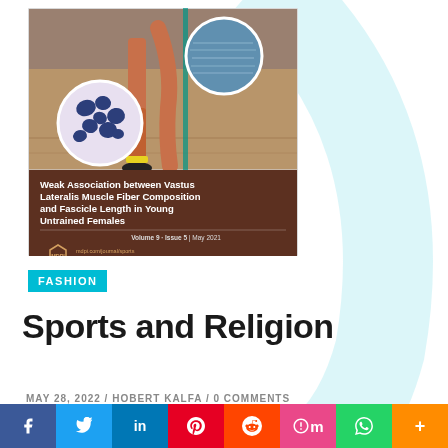[Figure (illustration): MDPI Sports journal cover showing a runner's legs, microscopy images of muscle fibers, and water surface image. Title: Weak Association between Vastus Lateralis Muscle Fiber Composition and Fascicle Length in Young Untrained Females. Volume 9, Issue 5, May 2021. MDPI logo with mdpi.com/journal/sports and ISSN 2075-4663.]
FASHION
Sports and Religion
MAY 28, 2022 / HOBERT KALFA / 0 COMMENTS